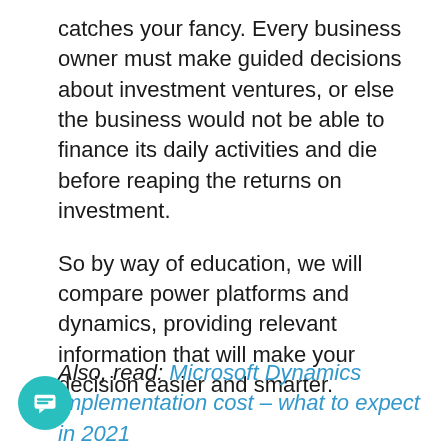catches your fancy. Every business owner must make guided decisions about investment ventures, or else the business would not be able to finance its daily activities and die before reaping the returns on investment.

So by way of education, we will compare power platforms and dynamics, providing relevant information that will make your decision easier and smarter.
Also, read: Microsoft Dynamics implementation cost – what to expect in 2021